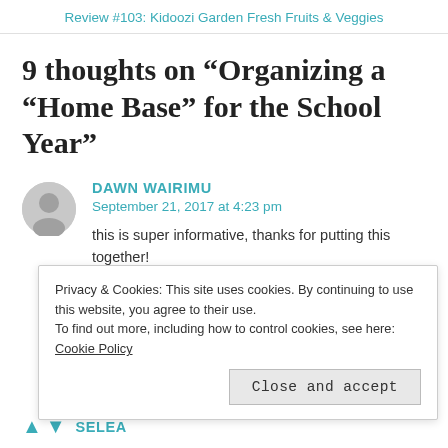Review #103: Kidoozi Garden Fresh Fruits & Veggies
9 thoughts on “Organizing a “Home Base” for the School Year”
DAWN WAIRIMU
September 21, 2017 at 4:23 pm
this is super informative, thanks for putting this together!
Privacy & Cookies: This site uses cookies. By continuing to use this website, you agree to their use. To find out more, including how to control cookies, see here: Cookie Policy
Close and accept
SELEA